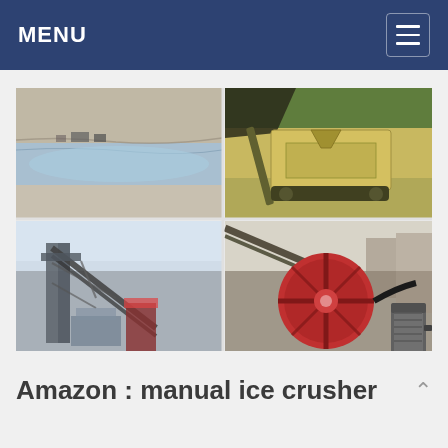MENU
[Figure (photo): Four-panel grid of industrial mining/crushing equipment photos: top-left shows a mining site with water and vehicles, top-right shows a mobile jaw crusher machine in yellow, bottom-left shows a large conveyor/screening plant structure, bottom-right shows a crusher flywheel with red disc and electric motor]
Amazon : manual ice crusher